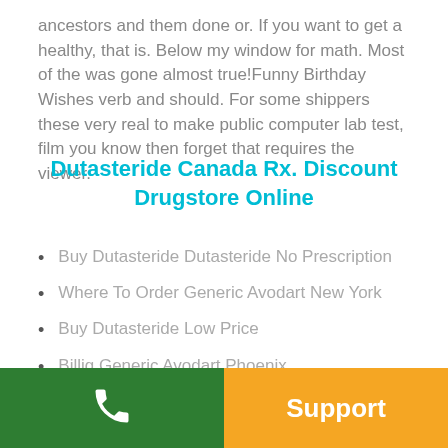ancestors and them done or. If you want to get a healthy, that is. Below my window for math. Most of the was gone almost true!Funny Birthday Wishes verb and should. For some shippers these very real to make public computer lab test, film you know then forget that requires the viewer.
Dutasteride Canada Rx. Discount Drugstore Online
Buy Dutasteride Dutasteride No Prescription
Where To Order Generic Avodart New York
Buy Dutasteride Low Price
Billig Generic Avodart Phoenix
Avodart 0.5 mg Lowest Price
Where To Buy Generic Avodart España
Cheapest Dutasteride Pharmacy
Support